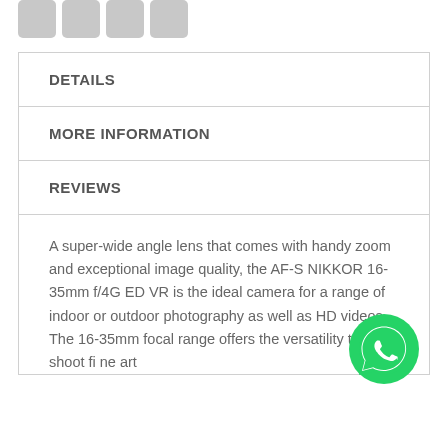[Figure (other): Four social media share buttons (grey rounded squares for Facebook, Twitter, Pinterest, LinkedIn)]
DETAILS
MORE INFORMATION
REVIEWS
A super-wide angle lens that comes with handy zoom and exceptional image quality, the AF-S NIKKOR 16-35mm f/4G ED VR is the ideal camera for a range of indoor or outdoor photography as well as HD videos. The 16-35mm focal range offers the versatility to shoot fi ne art...